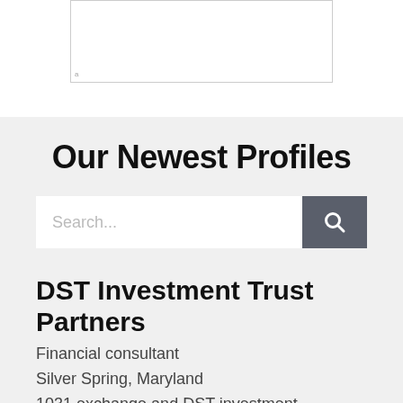[Figure (other): Empty white image box with border]
Our Newest Profiles
[Figure (other): Search bar with text input placeholder 'Search...' and a dark gray search button with magnifying glass icon]
DST Investment Trust Partners
Financial consultant
Silver Spring, Maryland
1031 exchange and DST investment